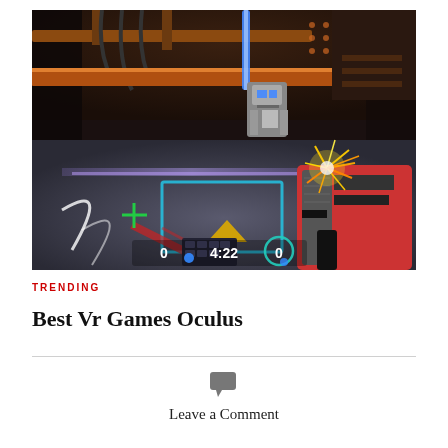[Figure (screenshot): First-person VR game screenshot showing a sci-fi arena with glowing floor markings, a score display showing 0 4:22 0, the player holding a weapon emitting sparks on the right side, and neon lighting throughout the environment.]
TRENDING
Best Vr Games Oculus
Leave a Comment